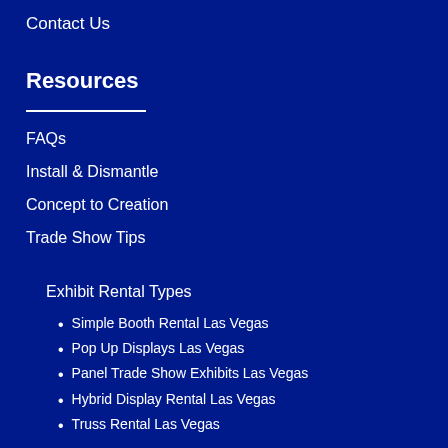Contact Us
Resources
FAQs
Install & Dismantle
Concept to Creation
Trade Show Tips
Exhibit Rental Types
Simple Booth Rental Las Vegas
Pop Up Displays Las Vegas
Panel Trade Show Exhibits Las Vegas
Hybrid Display Rental Las Vegas
Truss Rental Las Vegas